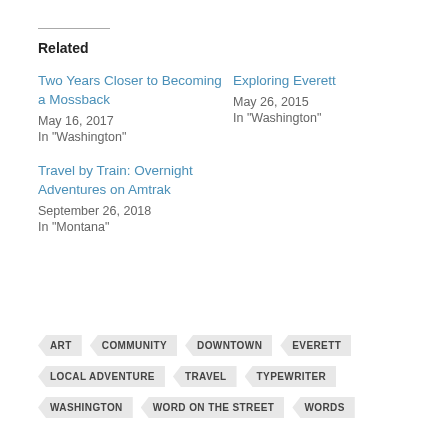Related
Two Years Closer to Becoming a Mossback
May 16, 2017
In "Washington"
Exploring Everett
May 26, 2015
In "Washington"
Travel by Train: Overnight Adventures on Amtrak
September 26, 2018
In "Montana"
ART  COMMUNITY  DOWNTOWN  EVERETT  LOCAL ADVENTURE  TRAVEL  TYPEWRITER  WASHINGTON  WORD ON THE STREET  WORDS